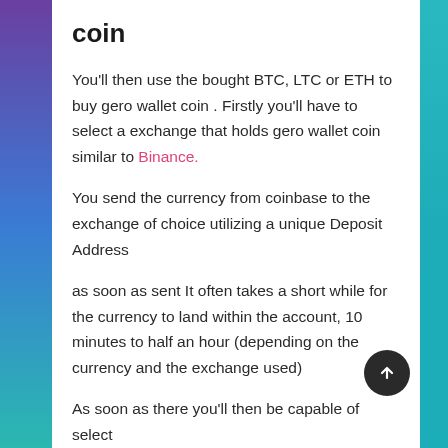coin
You'll then use the bought BTC, LTC or ETH to buy gero wallet coin . Firstly you'll have to select a exchange that holds gero wallet coin similar to Binance.
You send the currency from coinbase to the exchange of choice utilizing a unique Deposit Address
as soon as sent It often takes a short while for the currency to land within the account, 10 minutes to half an hour (depending on the currency and the exchange used)
As soon as there you'll then be capable of select